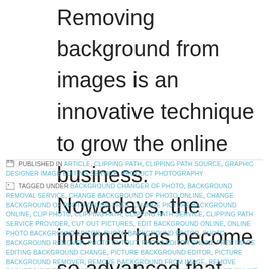Removing background from images is an innovative technique to grow the online business. Nowadays, the internet has become so advanced that everyone is selling their products online. Some of them even open up an online e-commerce store. This is an online sale is in trend nowadays. Now the challenging part is how to convince the
PUBLISHED IN ARTICLE, CLIPPING PATH, CLIPPING PATH SOURCE, GRAPHIC DESIGNER IMAGE EDITING SERVICE, PRODUCT PHOTOGRAPHY
TAGGED UNDER BACKGROUND CHANGER OF PHOTO, BACKGROUND REMOVAL SERVICE, CHANGE BACKGROUND OF PHOTO ONLINE, CHANGE BACKGROUND OF PHOTO ONLINE FREE, CHANGE PICTURE BACKGROUND ONLINE, CLIP PHOTO, CLIPPING PATH, CLIPPING PATH SERVICE, CLIPPING PATH SERVICE PROVIDER, CUT OUT PICTURES, EDIT BACKGROUND ONLINE, ONLINE PHOTO BACKGROUND EDITOR, PHOTO BACKGROUND EDITOR, PHOTO BACKGROUND REMOVER, PHOTO CUTOUT, PHOTO EDITOR ONLINE FREE IMAGE EDITING BACKGROUND CHANGE, PICTURE BACKGROUND EDITOR, PICTURE BACKGROUND REMOVER, REMOVE BACKGROUND FROM IMAGE, REMOVE BACKGROUND FROM IMAGE FREE, REMOVE BACKGROUND FROM IMAGE ONLINE, REMOVE BACKGROUND FROM IMAGE ONLINE FREE, REMOVE BACKGROUND FROM PHOTOS, REMOVE BACKGROUND